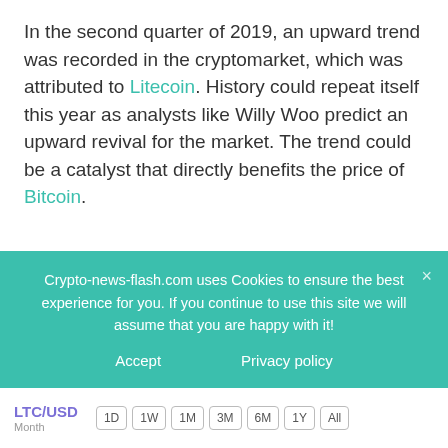In the second quarter of 2019, an upward trend was recorded in the cryptomarket, which was attributed to Litecoin. History could repeat itself this year as analysts like Willy Woo predict an upward revival for the market. The trend could be a catalyst that directly benefits the price of Bitcoin.
Litecoin's price at the time of publication is $47.99 with an upward movement of 5.05% in the last 24 hours and 15.74% in the week. The positive
Crypto-news-flash.com uses Cookies to ensure the best experience for you. If you continue to use this site we will assume that you are happy with it!
Accept    Privacy policy
[Figure (other): LTC/USD chart time selector bar with buttons: 1D, 1W, 1M, 3M, 6M, 1Y, All]